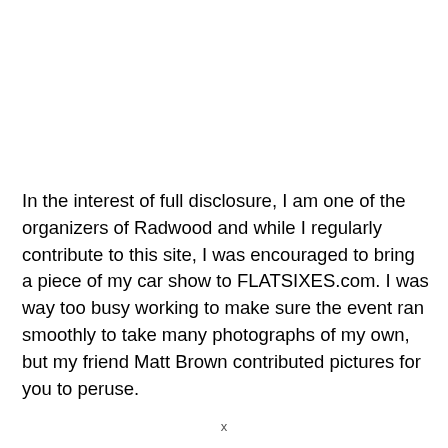In the interest of full disclosure, I am one of the organizers of Radwood and while I regularly contribute to this site, I was encouraged to bring a piece of my car show to FLATSIXES.com. I was way too busy working to make sure the event ran smoothly to take many photographs of my own, but my friend Matt Brown contributed pictures for you to peruse.
x